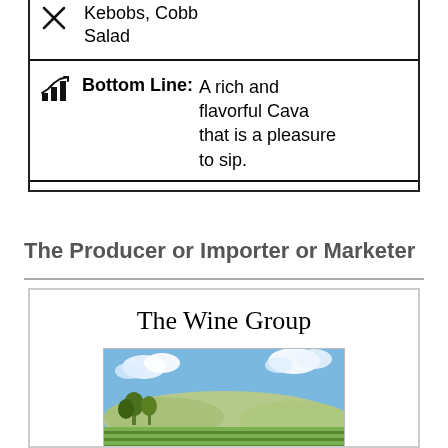| [food icon] [pairings icon] | Pairings: | Kebobs, Cobb Salad |
| [chart icon] | Bottom Line: | A rich and flavorful Cava that is a pleasure to sip. |
The Producer or Importer or Marketer
The Wine Group
[Figure (photo): Aerial view of a vineyard with rolling green rows of grapevines, trees, and a hillside under a partly cloudy sky.]